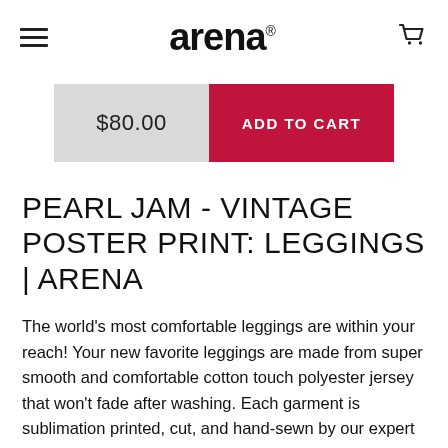arena
$80.00  ADD TO CART
PEARL JAM - VINTAGE POSTER PRINT: LEGGINGS | ARENA
The world's most comfortable leggings are within your reach! Your new favorite leggings are made from super smooth and comfortable cotton touch polyester jersey that won't fade after washing. Each garment is sublimation printed, cut, and hand-sewn by our expert in-house team.